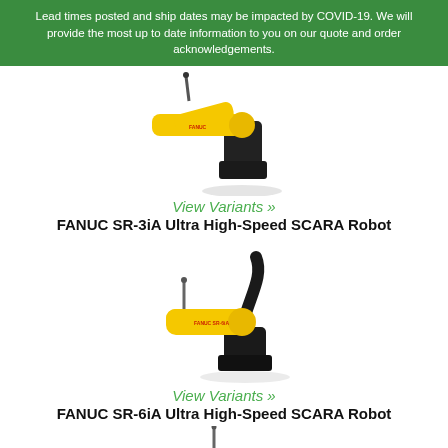Lead times posted and ship dates may be impacted by COVID-19. We will provide the most up to date information to you on our quote and order acknowledgements.
[Figure (photo): FANUC SR-3iA SCARA robot in yellow with black base, top partial view]
View Variants »
FANUC SR-3iA Ultra High-Speed SCARA Robot
[Figure (photo): FANUC SR-6iA SCARA robot in yellow with black curved cable and base mount]
View Variants »
FANUC SR-6iA Ultra High-Speed SCARA Robot
[Figure (photo): FANUC SCARA robot in yellow, partially visible at bottom of page]